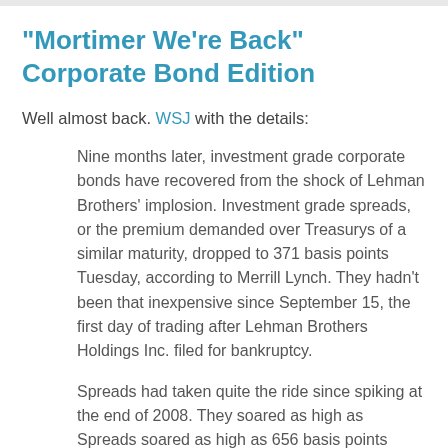"Mortimer We're Back" Corporate Bond Edition
Well almost back. WSJ with the details:
Nine months later, investment grade corporate bonds have recovered from the shock of Lehman Brothers' implosion. Investment grade spreads, or the premium demanded over Treasurys of a similar maturity, dropped to 371 basis points Tuesday, according to Merrill Lynch. They hadn't been that inexpensive since September 15, the first day of trading after Lehman Brothers Holdings Inc. filed for bankruptcy.
Spreads had taken quite the ride since spiking at the end of 2008. They soared as high as Spreads soared as high as 656 basis points December 5 before returning 100 basis points. They briefly rallied to 600 basis points in late March and then